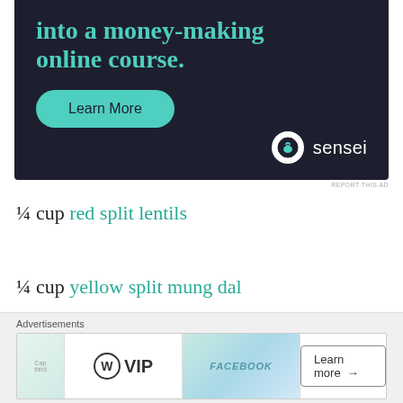[Figure (screenshot): Dark navy advertisement banner for Sensei online course platform showing teal headline text 'into a money-making online course.' with a teal 'Learn More' button and Sensei logo at bottom right]
REPORT THIS AD
¼ cup red split lentils
¼ cup yellow split mung dal
¼ cup basmati rice
[Figure (screenshot): Bottom advertisements bar showing WordPress VIP logo, a social media themed image with Facebook text, and a 'Learn more →' button]